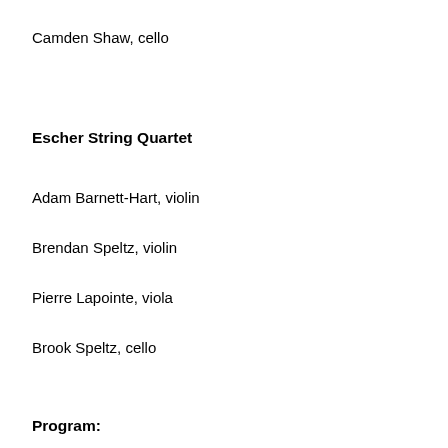Camden Shaw, cello
Escher String Quartet
Adam Barnett-Hart, violin
Brendan Speltz, violin
Pierre Lapointe, viola
Brook Speltz, cello
Program: